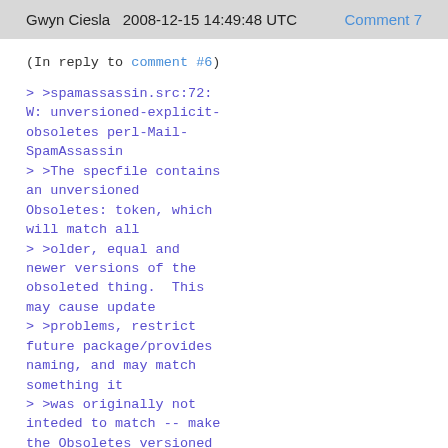Gwyn Ciesla   2008-12-15 14:49:48 UTC   Comment 7
(In reply to comment #6)
> >spamassassin.src:72: W: unversioned-explicit-obsoletes perl-Mail-SpamAssassin
> >The specfile contains an unversioned Obsoletes: token, which will match all
> >older, equal and newer versions of the obsoleted thing.  This may cause update
> >problems, restrict future package/provides naming, and may match something it
> >was originally not inteded to match -- make the Obsoletes versioned if
> >possible.
> >
> >Fix.
>